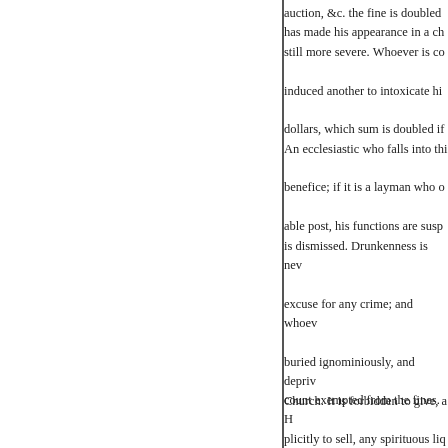auction, &c. the fine is doubled has made his appearance in a church still more severe. Whoever is convinced another to intoxicate him dollars, which sum is doubled if An ecclesiastic who falls into this benefice; if it is a layman who occupies a responsible post, his functions are suspended or he is dismissed. Drunkenness is never an excuse for any crime; and whoever buried ignominiously, and deprived of Church. It is forbidden to give, and implicitly to sell, any spirituous liquors to workmen, servants, apprentices. Whoever is observed drunk in the street, making noise in a tavern, is sure to be taken up and detained till sober, without, however count exempted from the fines. H